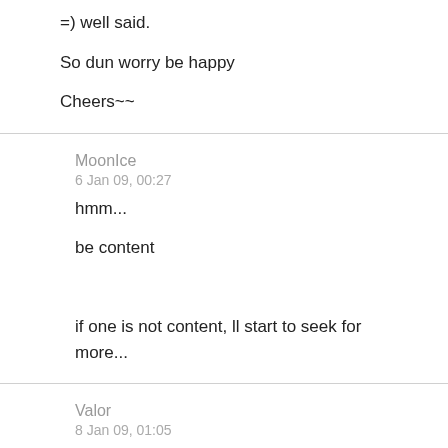=) well said.

So dun worry be happy

Cheers~~
MoonIce
6 Jan 09, 00:27
hmm...

be content



if one is not content, ll start to seek for more...
Valor
8 Jan 09, 01:05
Originally posted by MoonIce: